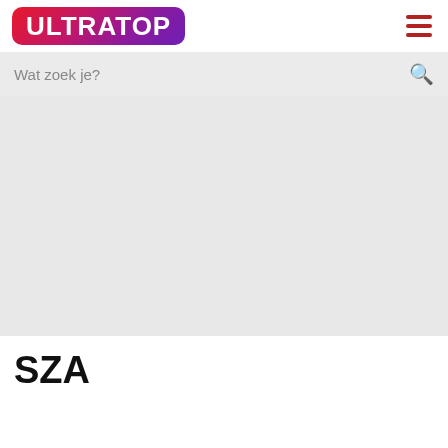[Figure (logo): Ultratop logo — white text on red-to-purple gradient rounded rectangle]
[Figure (other): Hamburger menu icon (three horizontal dark red lines)]
Wat zoek je?
[Figure (photo): Large light grey placeholder image area]
SZA